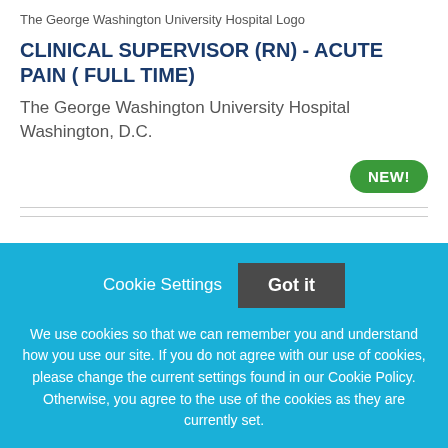[Figure (logo): The George Washington University Hospital Logo]
CLINICAL SUPERVISOR (RN) - ACUTE PAIN ( FULL TIME)
The George Washington University Hospital
Washington, D.C.
NEW!
Cookie Settings
Got it
We use cookies so that we can remember you and understand how you use our site. If you do not agree with our use of cookies, please change the current settings found in our Cookie Policy. Otherwise, you agree to the use of the cookies as they are currently set.